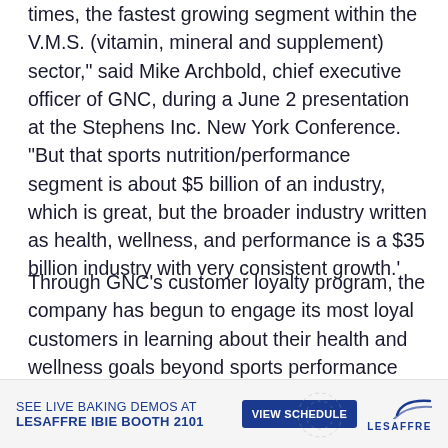times, the fastest growing segment within the V.M.S. (vitamin, mineral and supplement) sector," said Mike Archbold, chief executive officer of GNC, during a June 2 presentation at the Stephens Inc. New York Conference. "But that sports nutrition/performance segment is about $5 billion of an industry, which is great, but the broader industry written as health, wellness, and performance is a $35 billion industry with very consistent growth.'
Through GNC's customer loyalty program, the company has begun to engage its most loyal customers in learning about their health and wellness goals beyond sports performance and recovery.
"Everyone has unique health, wellness, and performance
Mr. Archbold said. "So we determined that we could go
[Figure (other): Advertisement banner for Lesaffre IBIE Booth 2101 with 'SEE LIVE BAKING DEMOS AT LESAFFRE IBIE BOOTH 2101' text, a 'VIEW SCHEDULE' button, and Lesaffre logo with swoosh graphic]